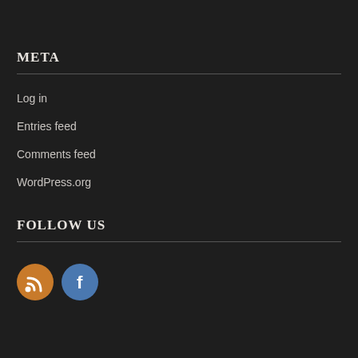META
Log in
Entries feed
Comments feed
WordPress.org
FOLLOW US
[Figure (illustration): Two social media icon circles: an orange RSS icon and a blue Facebook icon]